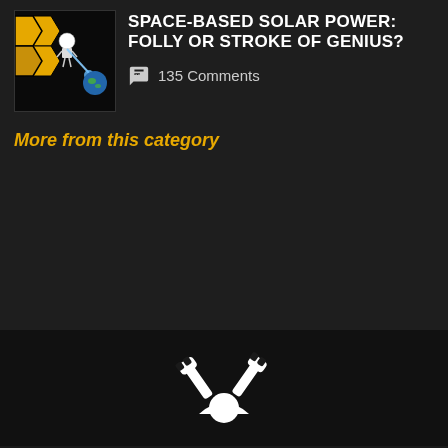SPACE-BASED SOLAR POWER: FOLLY OR STROKE OF GENIUS?
135 Comments
More from this category
[Figure (illustration): Wrench/tools icon with sun symbol in dark background]
By using our website and services, you expressly agree to the placement of our performance, functionality and advertising cookies. Learn more